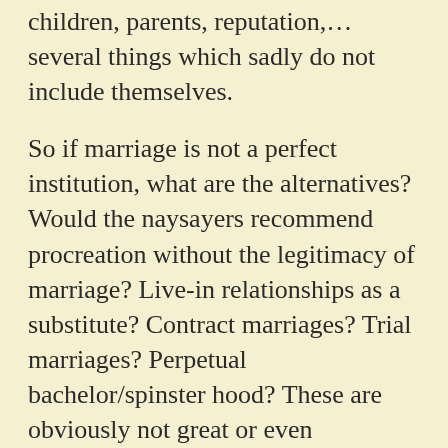children, parents, reputation,… several things which sadly do not include themselves.
So if marriage is not a perfect institution, what are the alternatives? Would the naysayers recommend procreation without the legitimacy of marriage? Live-in relationships as a substitute? Contract marriages? Trial marriages? Perpetual bachelor/spinster hood? These are obviously not great or even acceptable solutions… socially, emotionally, culturally, economically. Their pros & cons, more cons actually, are not being debated. That would lengthen this piece inordinately and also alter it's scope.
Do we therefore come to a pallid and rather stale inference that marriage survives as an